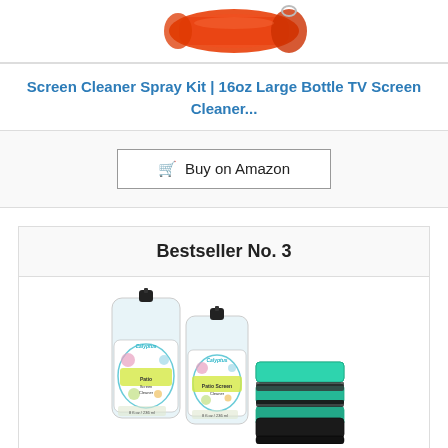[Figure (photo): Partial view of a red microfiber cloth rolled up, top of product card]
Screen Cleaner Spray Kit | 16oz Large Bottle TV Screen Cleaner...
Buy on Amazon
Bestseller No. 3
[Figure (photo): Two spray bottles of Calyptus Patio Screen Cleaner with colorful label designs, alongside stacked green and black microfiber cloths]
Calyptus Screen Cleaner Spray Kit | 8 Ounces + 4 Screen